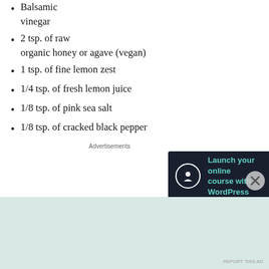Balsamic vinegar
2 tsp. of raw organic honey or agave (vegan)
1 tsp. of fine lemon zest
1/4 tsp. of fresh lemon juice
1/8 tsp. of pink sea salt
1/8 tsp. of cracked black pepper
Advertisements
[Figure (screenshot): Advertisement banner: Launch your online course with WordPress - Learn More button]
REPORT THIS AD
The Making of Jenny's Basic Balsamic Dressing:
In a separate bowl, combine all the ingredients and
Advertisements
REPORT THIS AD